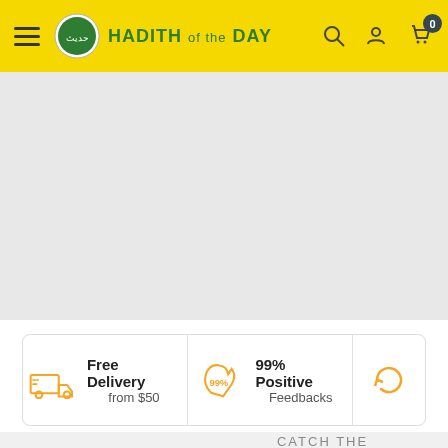HADITH OF THE DAY
[Figure (other): Gray hero banner placeholder area]
Free Delivery from $50
99% Positive Feedbacks
CATCH THE HOTTEST DEALS